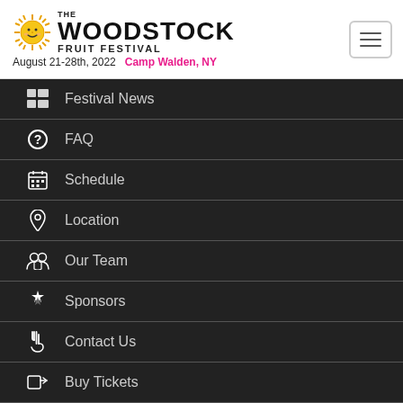[Figure (logo): The Woodstock Fruit Festival logo with sun character, August 21-28th, 2022, Camp Walden, NY]
Festival News
FAQ
Schedule
Location
Our Team
Sponsors
Contact Us
Buy Tickets